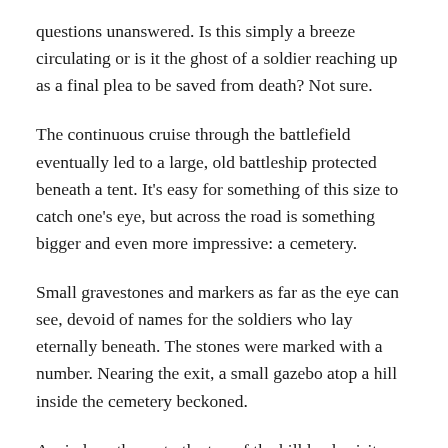questions unanswered. Is this simply a breeze circulating or is it the ghost of a soldier reaching up as a final plea to be saved from death? Not sure.
The continuous cruise through the battlefield eventually led to a large, old battleship protected beneath a tent. It's easy for something of this size to catch one's eye, but across the road is something bigger and even more impressive: a cemetery.
Small gravestones and markers as far as the eye can see, devoid of names for the soldiers who lay eternally beneath. The stones were marked with a number. Nearing the exit, a small gazebo atop a hill inside the cemetery beckoned.
A windy pathway to the top of the hill leads visitors to one of the more incredible sights in the park. From inside, the entire gravesite can be seen, much larger than any old wooden ship. A truly